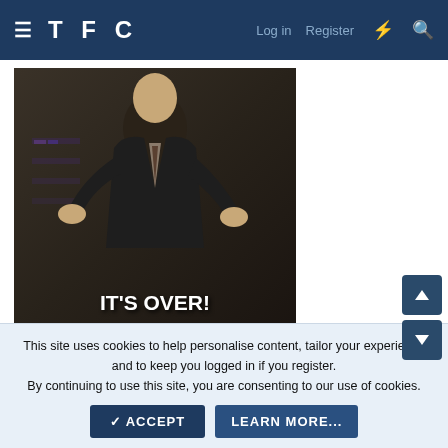TFC — Log in | Register
[Figure (photo): Animated GIF of a person in a suit gesturing with both hands, with caption IT'S OVER! overlaid at the bottom]
FightingIllini 🏆🏆🏆🏆🏆
This site uses cookies to help personalise content, tailor your experience and to keep you logged in if you register.
By continuing to use this site, you are consenting to our use of cookies.
✓ ACCEPT    LEARN MORE...